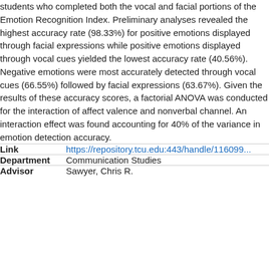students who completed both the vocal and facial portions of the Emotion Recognition Index. Preliminary analyses revealed the highest accuracy rate (98.33%) for positive emotions displayed through facial expressions while positive emotions displayed through vocal cues yielded the lowest accuracy rate (40.56%). Negative emotions were most accurately detected through vocal cues (66.55%) followed by facial expressions (63.67%). Given the results of these accuracy scores, a factorial ANOVA was conducted for the interaction of affect valence and nonverbal channel. An interaction effect was found accounting for 40% of the variance in emotion detection accuracy.
| Field | Value |
| --- | --- |
| Link | https://repository.tcu.edu:443/handle/116099... |
| Department | Communication Studies |
| Advisor | Sawyer, Chris R. |